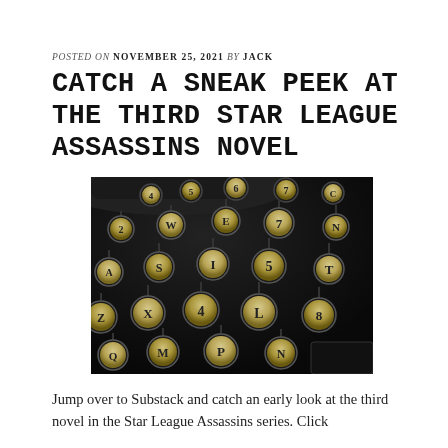POSTED ON NOVEMBER 25, 2021 BY JACK
CATCH A SNEAK PEEK AT THE THIRD STAR LEAGUE ASSASSINS NOVEL
[Figure (photo): Close-up photograph of vintage typewriter keys, black background, golden/ivory keycaps with letters and numbers visible.]
Jump over to Substack and catch an early look at the third novel in the Star League Assassins series. Click